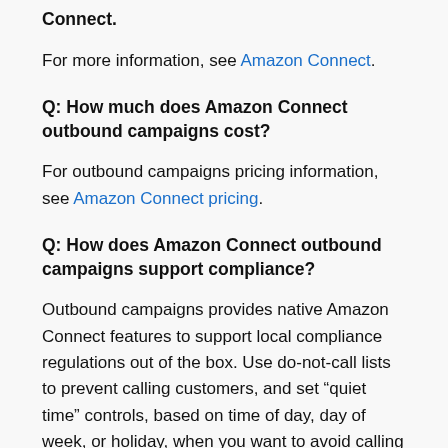Connect.
For more information, see Amazon Connect.
Q: How much does Amazon Connect outbound campaigns cost?
For outbound campaigns pricing information, see Amazon Connect pricing.
Q: How does Amazon Connect outbound campaigns support compliance?
Outbound campaigns provides native Amazon Connect features to support local compliance regulations out of the box. Use do-not-call lists to prevent calling customers, and set “quiet time” controls, based on time of day, day of week, or holiday, when you want to avoid calling customers.